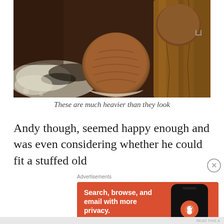[Figure (photo): Close-up photo of what appear to be large, heavy wooden or nutmeg-like round objects on a dark surface with white powder/flour scattered around]
These are much heavier than they look
Andy though, seemed happy enough and was even considering whether he could fit a stuffed old
[Figure (screenshot): DuckDuckGo advertisement banner with orange background. Text reads: Search, browse, and email with more privacy. All in One Free App. Shows a phone with DuckDuckGo logo.]
READ THIS A